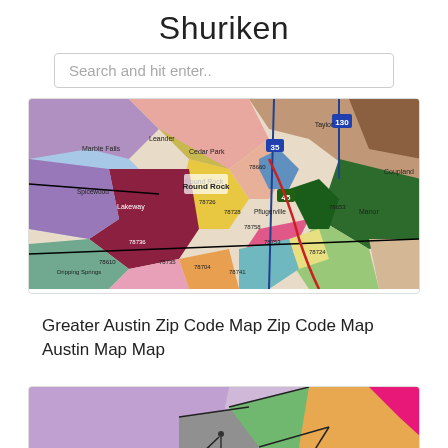Shuriken
Search and hit enter..
[Figure (map): Greater Austin area zip code map showing colored regions for different zip codes including Round Rock, Cedar Park, Lakeway, Manor, Pflugerville and surrounding areas with highway markers including I-35, I-130, and Route 45]
Greater Austin Zip Code Map Zip Code Map Austin Map Map
[Figure (map): Partial view of a colorful zip code or district map showing regions in purple, gray, green, orange, and pink/magenta colors with boundary lines]